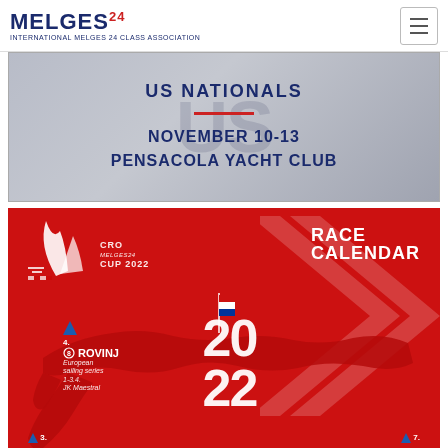MELGES 24 — INTERNATIONAL MELGES 24 CLASS ASSOCIATION
[Figure (illustration): US Nationals event banner with watermark text 'US NATIONALS', date November 10-13, Pensacola Yacht Club, on grey gradient background]
[Figure (infographic): CRO Melges 24 Cup 2022 Race Calendar promotional image on red background with Croatia map silhouette, Croatian flag, Melges 24 sailboat logo, location pins including Rovinj with European Sailing Series, 1-3.4 JK Maestral, and year 2022 displayed large]